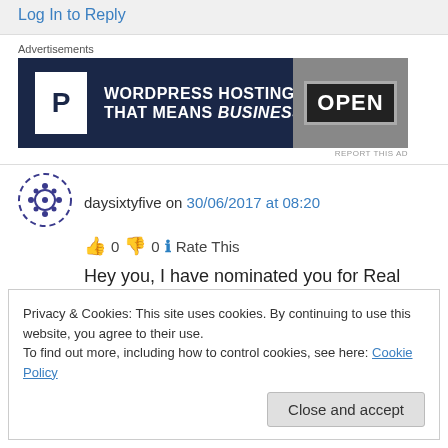Log In to Reply
Advertisements
[Figure (photo): WordPress Hosting advertisement banner with 'OPEN' sign]
daysixtyfive on 30/06/2017 at 08:20
👍 0 👎 0 ℹ Rate This
Hey you, I have nominated you for Real Neat Blog Award. See here:
Privacy & Cookies: This site uses cookies. By continuing to use this website, you agree to their use. To find out more, including how to control cookies, see here: Cookie Policy
Close and accept